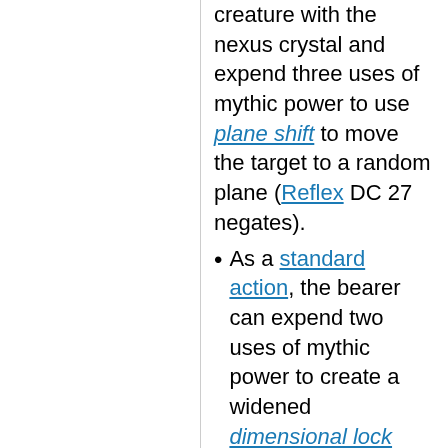creature with the nexus crystal and expend three uses of mythic power to use plane shift to move the target to a random plane (Reflex DC 27 negates).
As a standard action, the bearer can expend two uses of mythic power to create a widened dimensional lock centered on the crystal instead of on a point in space. The lock lasts for 24 hours or until dismissed.
As a full-round action, the bearer can attempt to draw back other creatures that teleported away by expending four